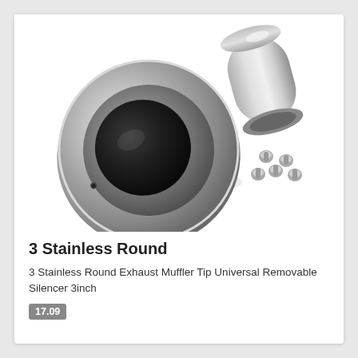[Figure (photo): A stainless steel round exhaust muffler tip with a large circular flange and cylindrical inlet pipe, shown at an angle. Several small screws/bolts are shown separately to the lower right of the main component.]
3 Stainless Round
3 Stainless Round Exhaust Muffler Tip Universal Removable Silencer 3inch
17.09